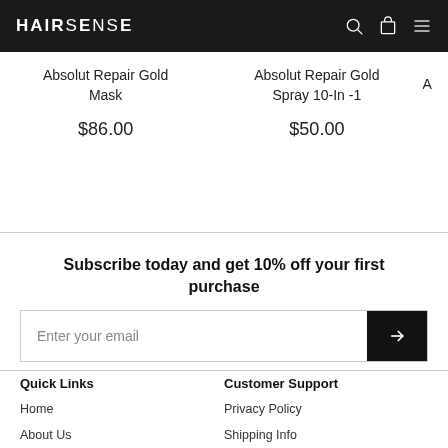HAIRSENSE
Absolut Repair Gold Mask
$86.00
Absolut Repair Gold Spray 10-In -1
$50.00
Subscribe today and get 10% off your first purchase
Enter your email
Quick Links
Customer Support
Home
About Us
Contact Us
Privacy Policy
Shipping Info
Returns & Exchanges